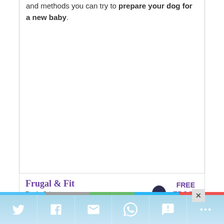and methods you can try to prepare your dog for a new baby.
[Figure (infographic): Advertisement banner for 'Frugal & Fit' ebook with subtitle 'Tips for Being Healthy on a Budget', a silhouette image, FREE EBOOK label, and a close button]
[Figure (infographic): Social share bar with color strip (blue, gray, green, blue, red) and icons for Twitter, Facebook, Email, WhatsApp, SMS, and More sharing options]